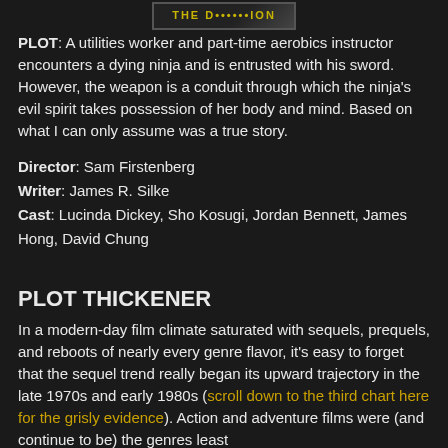[Figure (logo): Movie title logo graphic at top center]
PLOT: A utilities worker and part-time aerobics instructor encounters a dying ninja and is entrusted with his sword. However, the weapon is a conduit through which the ninja's evil spirit takes possession of her body and mind. Based on what I can only assume was a true story.
Director: Sam Firstenberg
Writer: James R. Silke
Cast: Lucinda Dickey, Sho Kosugi, Jordan Bennett, James Hong, David Chung
PLOT THICKENER
In a modern-day film climate saturated with sequels, prequels, and reboots of nearly every genre flavor, it's easy to forget that the sequel trend really began its upward trajectory in the late 1970s and early 1980s (scroll down to the third chart here for the grisly evidence). Action and adventure films were (and continue to be) the genres least